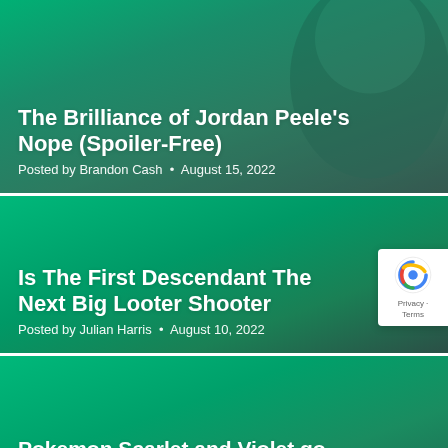[Figure (photo): Blog card with green-tinted background showing a person's face, for an article about Jordan Peele's Nope]
The Brilliance of Jordan Peele's Nope (Spoiler-Free)
Posted by Brandon Cash • August 15, 2022
[Figure (photo): Blog card with green-tinted background showing a gaming scene for The First Descendant article]
Is The First Descendant The Next Big Looter Shooter
Posted by Julian Harris • August 10, 2022
[Figure (photo): Blog card with green-tinted background showing Pokemon Scarlet and Violet characters]
Pokemon Scarlet and Violet go to the Paldea Region
Posted by Julian Harris • August 3, 2022
[Figure (photo): Blog card with green-tinted background for Soda Crisis Impressions article, partially visible]
Soda Crisis Impressions